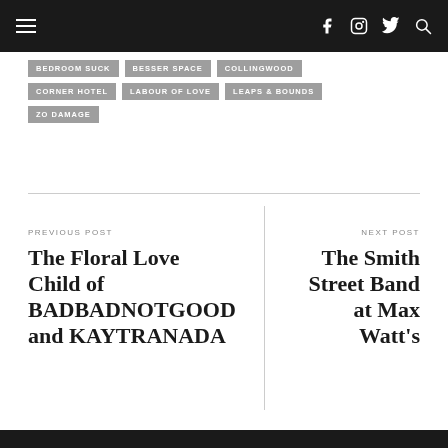Navigation bar with hamburger menu and social icons (facebook, instagram, twitter, search)
BEDROOM SUCK
BESSER SPACE
COLLINGWOOD
CORNER HOTEL
LABOUR OF LOVE
LEAPS & BOUNDS
ZO DAMAGE
PREVIOUS POST
The Floral Love Child of BADBADNOTGOOD and KAYTRANADA
NEXT POST
The Smith Street Band at Max Watt's